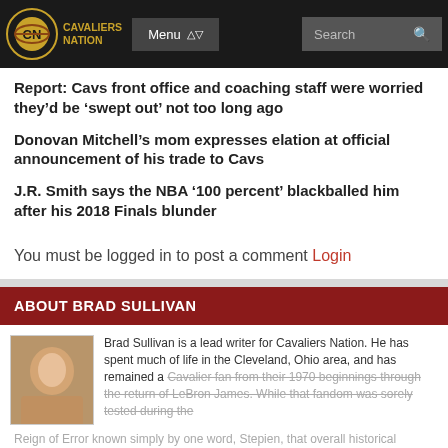Cavaliers Nation | Menu | Search
Report: Cavs front office and coaching staff were worried they'd be 'swept out' not too long ago
Donovan Mitchell's mom expresses elation at official announcement of his trade to Cavs
J.R. Smith says the NBA '100 percent' blackballed him after his 2018 Finals blunder
You must be logged in to post a comment Login
ABOUT BRAD SULLIVAN
Brad Sullivan is a lead writer for Cavaliers Nation. He has spent much of life in the Cleveland, Ohio area, and has remained a Cavalier fan from their 1970 beginnings through the return of LeBron James. While that fandom was sorely tested during the Reign of Error known simply by one word, Stepien, that overall historical perspective will be part of his writing for Cavaliers Nation.